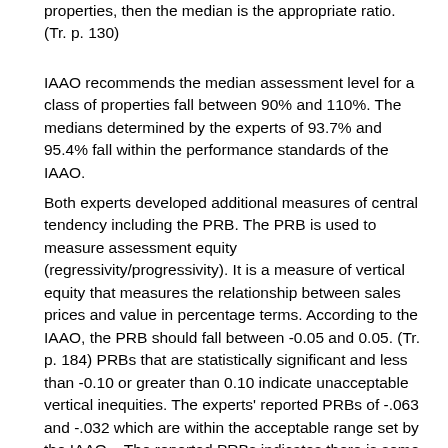properties, then the median is the appropriate ratio. (Tr. p. 130)
IAAO recommends the median assessment level for a class of properties fall between 90% and 110%. The medians determined by the experts of 93.7% and 95.4% fall within the performance standards of the IAAO.
Both experts developed additional measures of central tendency including the PRB. The PRB is used to measure assessment equity (regressivity/progressivity). It is a measure of vertical equity that measures the relationship between sales prices and value in percentage terms. According to the IAAO, the PRB should fall between -0.05 and 0.05. (Tr. p. 184) PRBs that are statistically significant and less than -0.10 or greater than 0.10 indicate unacceptable vertical inequities. The experts' reported PRBs of -.063 and -.032 which are within the acceptable range set by the IAAO.   The reported PRBs indicates there is some degree of regressivity in the assessment of commercial properties, in other words, higher value properties were assessed at a lower